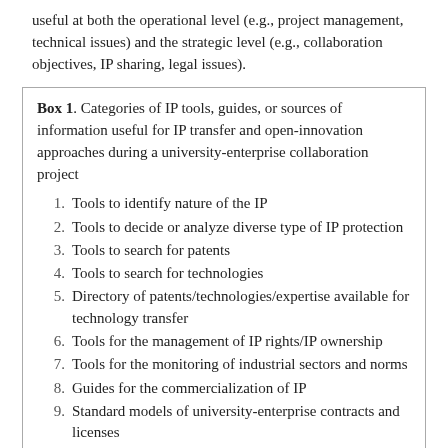useful at both the operational level (e.g., project management, technical issues) and the strategic level (e.g., collaboration objectives, IP sharing, legal issues).
Box 1. Categories of IP tools, guides, or sources of information useful for IP transfer and open-innovation approaches during a university-enterprise collaboration project
Tools to identify nature of the IP
Tools to decide or analyze diverse type of IP protection
Tools to search for patents
Tools to search for technologies
Directory of patents/technologies/expertise available for technology transfer
Tools for the management of IP rights/IP ownership
Tools for the monitoring of industrial sectors and norms
Guides for the commercialization of IP
Standard models of university-enterprise contracts and licenses
Guides for collaboration with universities
Guides for collaboration with enterprises